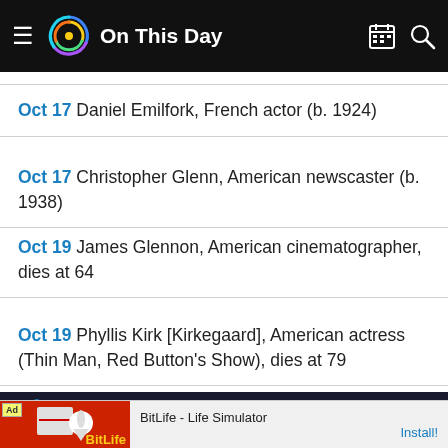On This Day
Oct 17 Daniel Emilfork, French actor (b. 1924)
Oct 17 Christopher Glenn, American newscaster (b. 1938)
Oct 19 James Glennon, American cinematographer, dies at 64
Oct 19 Phyllis Kirk [Kirkegaard], American actress (Thin Man, Red Button's Show), dies at 79
Jane Wyatt
Ad BitLife - Life Simulator Install!